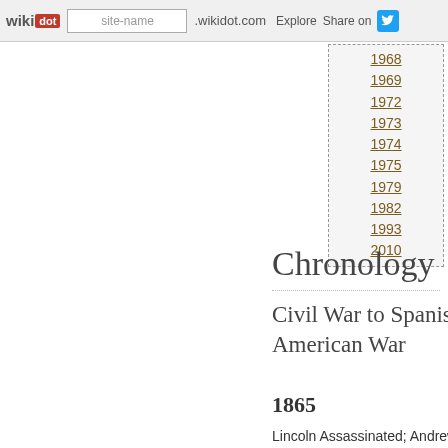wikidot | site-name | .wikidot.com | Explore | Share on
1968
1969
1972
1973
1974
1975
1979
1982
1993
2010
Chronology
Civil War to Spanish American War
1865
Lincoln Assassinated; Andrew Johnson becomes President.
1867-1877